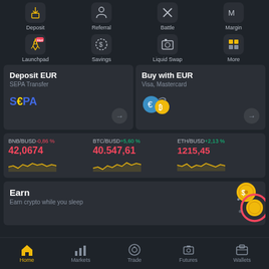[Figure (screenshot): Binance mobile app screenshot showing top navigation menu with Deposit, Referral, Battle, Margin labels, and icons for Launchpad (with Hot badge), Savings, Liquid Swap, More]
Deposit EUR
SEPA Transfer
Buy with EUR
Visa, Mastercard
BNB/BUSD -0,86 %
42,0674
BTC/BUSD +5,60 %
40.547,61
ETH/BUSD +2,13 %
1215,45
Earn
Earn crypto while you sleep
Home  Markets  Trade  Futures  Wallets